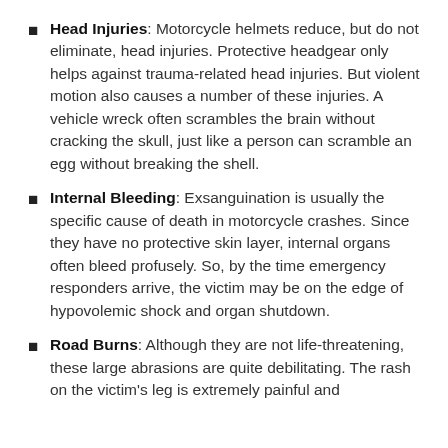Head Injuries: Motorcycle helmets reduce, but do not eliminate, head injuries. Protective headgear only helps against trauma-related head injuries. But violent motion also causes a number of these injuries. A vehicle wreck often scrambles the brain without cracking the skull, just like a person can scramble an egg without breaking the shell.
Internal Bleeding: Exsanguination is usually the specific cause of death in motorcycle crashes. Since they have no protective skin layer, internal organs often bleed profusely. So, by the time emergency responders arrive, the victim may be on the edge of hypovolemic shock and organ shutdown.
Road Burns: Although they are not life-threatening, these large abrasions are quite debilitating. The rash on the victim's leg is extremely painful and